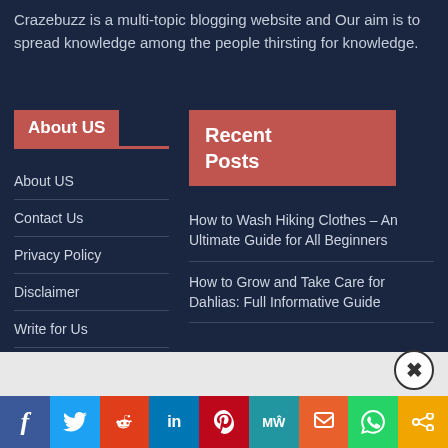Crazebuzz is a multi-topic blogging website and Our aim is to spread knowledge among the people thirsting for knowledge.
About US
About US
Contact Us
Privacy Policy
Disclaimer
Write for Us
Recent Posts
How to Wash Hiking Clothes – An Ultimate Guide for All Beginners
How to Grow and Take Care for Dahlias: Full Informative Guide